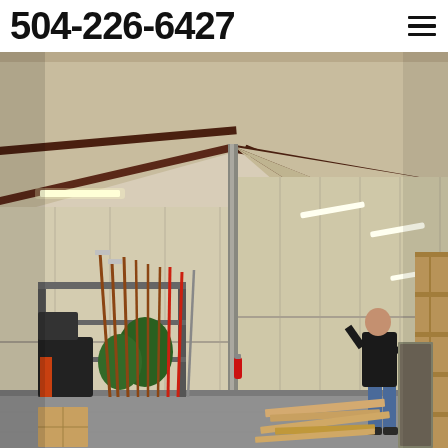504-226-6427
[Figure (photo): Interior of a large metal warehouse/steel building. The interior shows exposed steel beams painted dark brown/maroon, metal panel walls in cream/beige color, fluorescent tube lighting along the ceiling, a concrete floor. On the left side are various tools, equipment, green bags, and rakes/shovels leaning against metal shelving. On the right a person in dark shirt and jeans stands looking toward wooden lumber/boards stacked on the floor. Right side background shows wooden shelving or framing.]